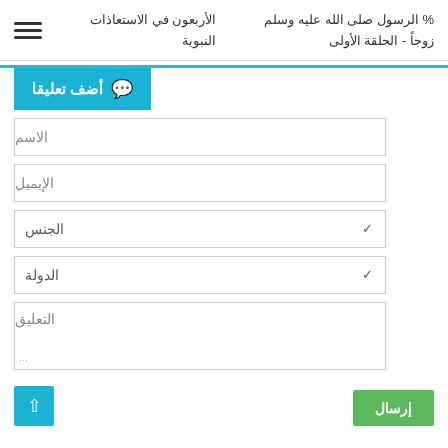% الرسول صلى الله عليه وسلم زوجاً - الحلقة الأولى  % الأربعون في الاستعاذات النبوية
أضف تعليقا
الاسم
الإيميل
الجنس
الدولة
التعليق
إرسال